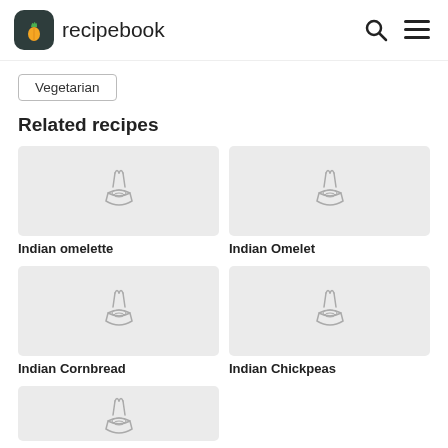recipebook
Vegetarian
Related recipes
[Figure (illustration): Recipe card image placeholder with bowl and chopsticks icon]
Indian omelette
[Figure (illustration): Recipe card image placeholder with bowl and chopsticks icon]
Indian Omelet
[Figure (illustration): Recipe card image placeholder with bowl and chopsticks icon]
Indian Cornbread
[Figure (illustration): Recipe card image placeholder with bowl and chopsticks icon]
Indian Chickpeas
[Figure (illustration): Recipe card image placeholder with bowl and chopsticks icon — partially visible]